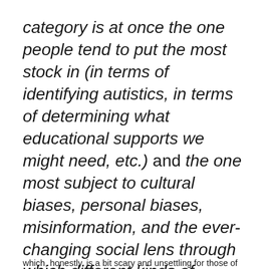category is at once the one people tend to put the most stock in (in terms of identifying autistics, in terms of determining what educational supports we might need, etc.) and the one most subject to cultural biases, personal biases, misinformation, and the ever-changing social lens through which different kinds of people are generally viewed.
which, honestly, is a bit scary and unsettling for those of